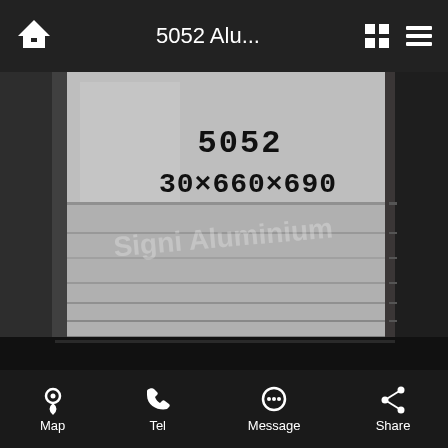5052 Alu...
[Figure (photo): Photograph of a stack of 5052 aluminum plates/blocks labeled '5052 30x660x690' with a watermark 'Signi Aluminium' visible on the surface. The metal pieces are stored in what appears to be a warehouse, surrounded by dark packaging material.]
Map  Tel  Message  Share